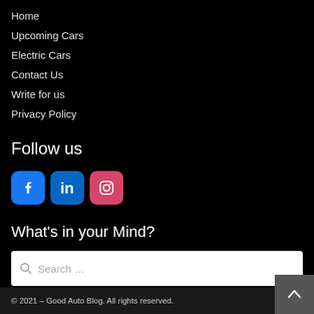Home
Upcoming Cars
Electric Cars
Contact Us
Write for us
Privacy Policy
Follow us
[Figure (infographic): Social media icons: Facebook (blue), LinkedIn (blue), Instagram (pink/red)]
What's in your Mind?
Search ...
© 2021 – Good Auto Blog. All rights reserved.